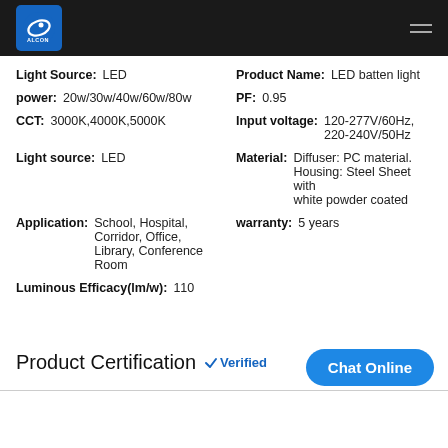[Figure (logo): Alcon brand logo, blue square with fish eye graphic and ALCON text]
| Light Source: | LED | Product Name: | LED batten light |
| power: | 20w/30w/40w/60w/80w | PF: | 0.95 |
| CCT: | 3000K,4000K,5000K | Input voltage: | 120-277V/60Hz, 220-240V/50Hz |
| Light source: | LED | Material: | Diffuser: PC material. Housing: Steel Sheet with white powder coated |
| Application: | School, Hospital, Corridor, Office, Library, Conference Room | warranty: | 5 years |
| Luminous Efficacy(lm/w): | 110 |  |  |
Product Certification Verified